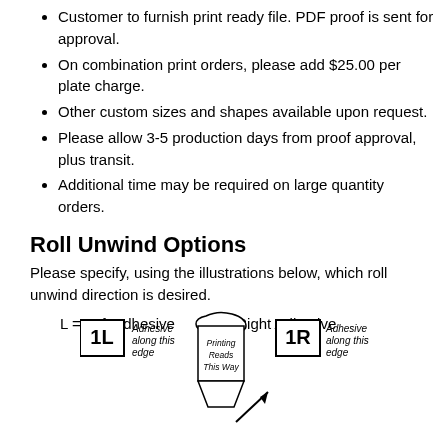Customer to furnish print ready file. PDF proof is sent for approval.
On combination print orders, please add $25.00 per plate charge.
Other custom sizes and shapes available upon request.
Please allow 3-5 production days from proof approval, plus transit.
Additional time may be required on large quantity orders.
Roll Unwind Options
Please specify, using the illustrations below, which roll unwind direction is desired.
L = Left Adhesive        R = Right Adhesive
[Figure (illustration): Diagram showing roll unwind options: 1L (left adhesive) and 1R (right adhesive) with a roll of labels illustrating printing reads this way, adhesive along this edge, with an arrow showing direction.]